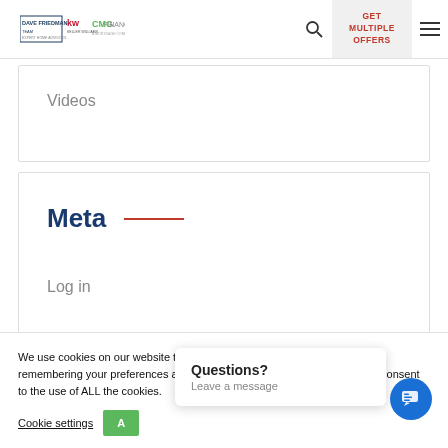Dave Friedman | KW | CMG Financial — GET MULTIPLE OFFERS
Videos
Meta
Log in
We use cookies on our website to give you the most relevant experience by remembering your preferences and repeat visits. By clicking “Accept”, you consent to the use of ALL the cookies.
Cookie settings
Questions? Leave a message